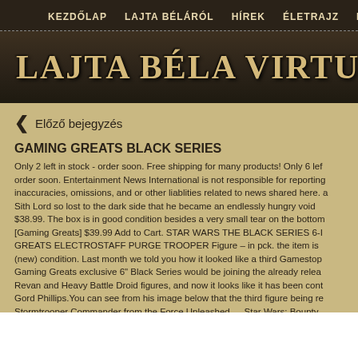KEZDŐLAP  LAJTA BÉLÁRÓL  HÍREK  ÉLETRAJZ  MŰVEK  LA
LAJTA BÉLA VIRTUÁLIS
Előző bejegyzés
GAMING GREATS BLACK SERIES
Only 2 left in stock - order soon. Free shipping for many products! Only 6 left - order soon. Entertainment News International is not responsible for reporting inaccuracies, omissions, and or other liablities related to news shared here. a Sith Lord so lost to the dark side that he became an endlessly hungry void $38.99. The box is in good condition besides a very small tear on the bottom [Gaming Greats] $39.99 Add to Cart. STAR WARS THE BLACK SERIES 6-I GREATS ELECTROSTAFF PURGE TROOPER Figure – in pck. the item is (new) condition. Last month we told you how it looked like a third Gamestop Gaming Greats exclusive 6" Black Series would be joining the already relea Revan and Heavy Battle Droid figures, and now it looks like it has been cont Gord Phillips.You can see from his image below that the third figure being re Stormtrooper Commander from the Force Unleashed … Star Wars: Bounty Jango Fett, the most fearsome bounty hunter in the galaxy, as he pursues a Dark Jedi named Komari Vosa! Take a closer look at these stunning charact beautifully designed packaging. Star Wars Black series are produced by Ha purchased the original Kenner company. Find many great new & used option best deals for Star Wars Black Series 6" Gaming Greats Stormtooper Comm Shadow Trooper at the best online prices at eBay! JANGO FETT (Star Wars Hunter) The Black Series Gamestop Exclusive Gaming Greats 6-Inch Figur $23.12 0 bids + shipping . C $54.92. Now fans can display Darth Nihlus wit